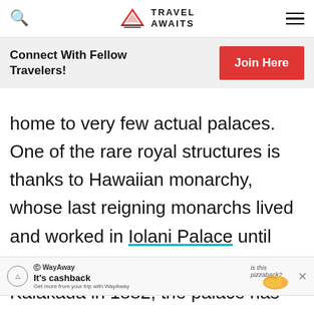Travel Awaits
Connect With Fellow Travelers! Join Here
home to very few actual palaces. One of the rare royal structures is thanks to Hawaiian monarchy, whose last reigning monarchs lived and worked in Iolani Palace until their overthrow. Built by King Kalākaua in 1882, the palace has undergone a restoration to honor the lives of its former occupants, and
WayAway — It's cashback. Get more from your trip with WayAway